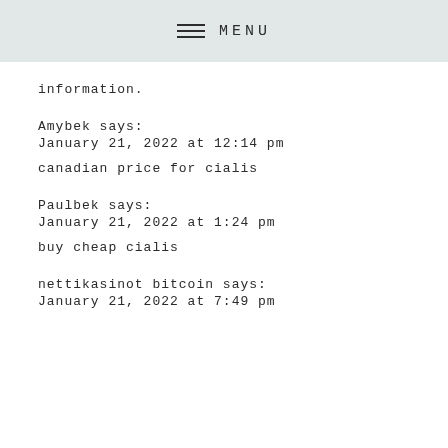MENU
information.
Amybek says:
January 21, 2022 at 12:14 pm

canadian price for cialis
Paulbek says:
January 21, 2022 at 1:24 pm

buy cheap cialis
nettikasinot bitcoin says:
January 21, 2022 at 7:49 pm